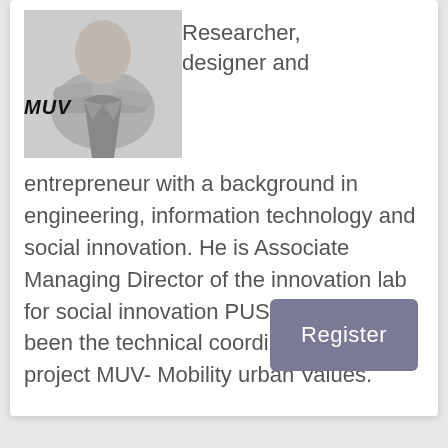[Figure (photo): Photo of a man in a grey suit with arms crossed, against a light grey background. MUV handwritten logo overlaid on the left.]
Researcher, designer and entrepreneur with a background in engineering, information technology and social innovation. He is Associate Managing Director of the innovation lab for social innovation PUSH and has been the technical coordinator of the project MUV- Mobility urban Values.
Register